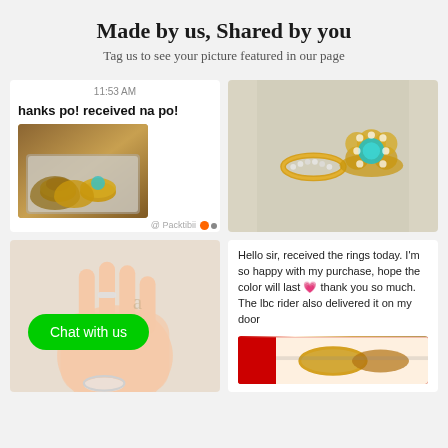Made by us, Shared by you
Tag us to see your picture featured in our page
[Figure (screenshot): Message screenshot showing '11:53 AM', text 'hanks po! received na po!' and a photo of two gold rings in a jewelry box]
[Figure (photo): Close-up photo of two gold rings on fabric — a diamond band and a blue gemstone flower ring]
[Figure (photo): Photo of a hand holding rings with a green 'Chat with us' button overlay]
Hello sir, received the rings today. I'm so happy with my purchase, hope the color will last 💗 thank you so much. The lbc rider also delivered it on my door